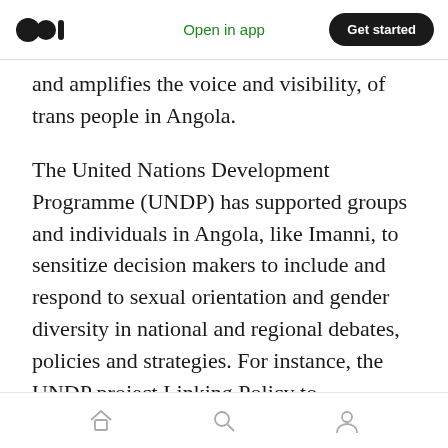Open in app | Get started
and amplifies the voice and visibility, of trans people in Angola.
The United Nations Development Programme (UNDP) has supported groups and individuals in Angola, like Imanni, to sensitize decision makers to include and respond to sexual orientation and gender diversity in national and regional debates, policies and strategies. For instance, the UNDP project Linking Policy to Programming (2016–2021) contributed to better laws and policies, more responsive public sector services, and social norms, including on HIV, for young
Home | Search | Profile